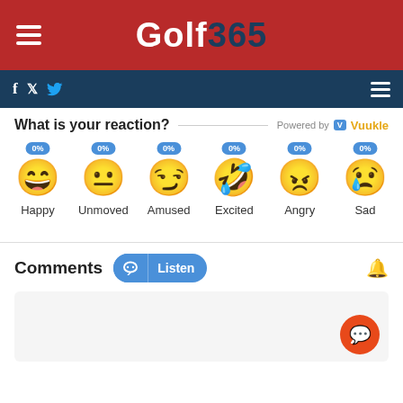Golf 365
[Figure (screenshot): Golf365 website header with red background, hamburger menu icon on left, Golf365 logo in center (Golf in white, 365 in dark navy), dark navy navigation bar with social media icons (f, Twitter) and hamburger menu on right]
What is your reaction? Powered by Vuukle
[Figure (infographic): Reaction emoji widget showing 6 emoji faces with 0% badges: Happy (laughing face), Unmoved (neutral face), Amused (winking face), Excited (laughing with tears face), Angry (angry red face), Sad (sad face)]
Comments
[Figure (screenshot): Comments section with Listen button (headphone icon), bell notification icon, grey comment input box area, and orange circular chat button in bottom right corner]